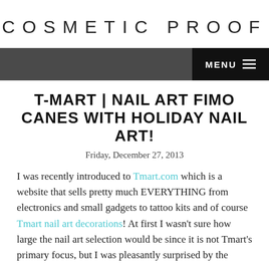COSMETIC PROOF
T-MART | NAIL ART FIMO CANES WITH HOLIDAY NAIL ART!
Friday, December 27, 2013
I was recently introduced to Tmart.com which is a website that sells pretty much EVERYTHING from electronics and small gadgets to tattoo kits and of course Tmart nail art decorations! At first I wasn't sure how large the nail art selection would be since it is not Tmart's primary focus, but I was pleasantly surprised by the